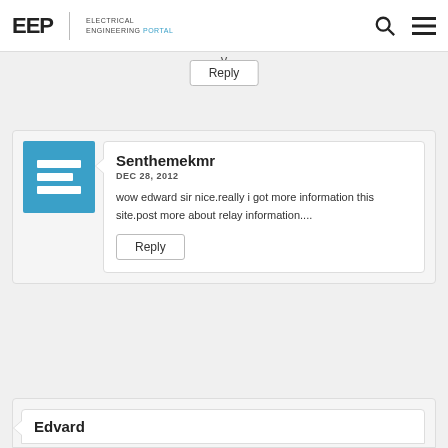EEP | ELECTRICAL ENGINEERING PORTAL
y
Reply
Senthemekmr
DEC 28, 2012
wow edward sir nice.really i got more information this site.post more about relay information....
Reply
Edvard